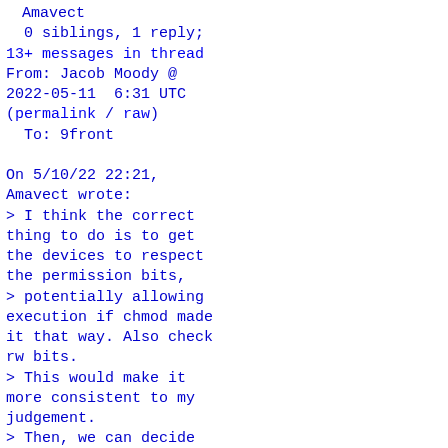Amavect
0 siblings, 1 reply;
13+ messages in thread
From: Jacob Moody @
2022-05-11  6:31 UTC
(permalink / raw)
  To: 9front

On 5/10/22 22:21,
Amavect wrote:
> I think the correct
thing to do is to get
the devices to respect
the permission bits,
> potentially allowing
execution if chmod made
it that way. Also check
rw bits.
> This would make it
more consistent to my
judgement.
> Then, we can decide
whether to reject a
wstat for trying to set
the x bit.

I disagree, I put
forward that having
#|/^(data data1)
executable has no valid